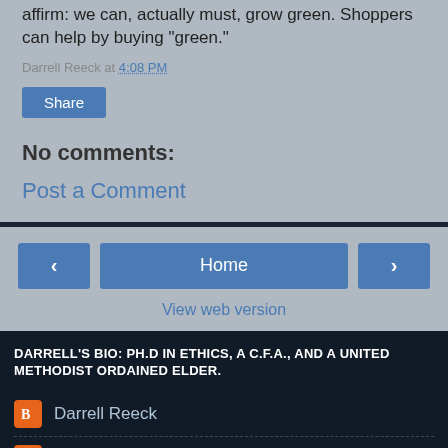affirm: we can, actually must, grow green. Shoppers can help by buying "green."
Darrell Reeck at 4:08 PM
Share
No comments:
Post a Comment
Home
View web version
DARRELL'S BIO: PH.D IN ETHICS, A C.F.A., AND A UNITED METHODIST ORDAINED ELDER.
Darrell Reeck
Unknown
Powered by Blogger.